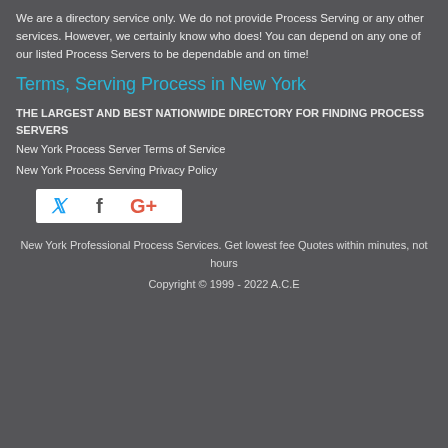We are a directory service only. We do not provide Process Serving or any other services. However, we certainly know who does! You can depend on any one of our listed Process Servers to be dependable and on time!
Terms, Serving Process in New York
THE LARGEST AND BEST NATIONWIDE DIRECTORY FOR FINDING PROCESS SERVERS
New York Process Server Terms of Service
New York Process Serving Privacy Policy
[Figure (other): Social media icons bar with Twitter (bird icon), Facebook (f), and Google+ (G+) on white background]
New York Professional Process Services. Get lowest fee Quotes within minutes, not hours
Copyright © 1999 - 2022 A.C.E